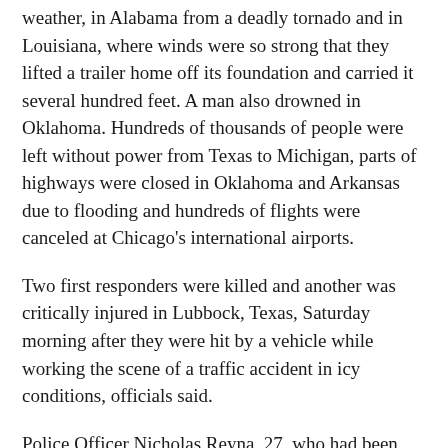weather, in Alabama from a deadly tornado and in Louisiana, where winds were so strong that they lifted a trailer home off its foundation and carried it several hundred feet. A man also drowned in Oklahoma. Hundreds of thousands of people were left without power from Texas to Michigan, parts of highways were closed in Oklahoma and Arkansas due to flooding and hundreds of flights were canceled at Chicago's international airports.
Two first responders were killed and another was critically injured in Lubbock, Texas, Saturday morning after they were hit by a vehicle while working the scene of a traffic accident in icy conditions, officials said.
Police Officer Nicholas Reyna, 27, who had been with the department for one year, died at the scene. Firefighter Lt. David Hill, 39, was taken to a local hospital where he later died. Firefighter Matthew Dawson, 30, was hospitalized in critical condition.